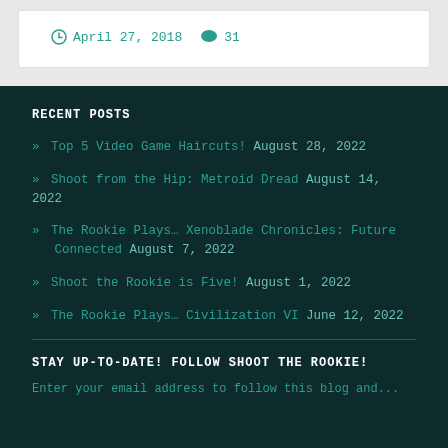April 27, 2018  31
RECENT POSTS
» Top 5 Video Game Haircuts!  August 28, 2022
» Shoot from the Hip: Metroid Dread  August 14, 2022
» The Rookie Plays… Xenoblade Chronicles: Future Connected  August 7, 2022
» Shoot the Rookie is Five!  August 1, 2022
» The Rookie Plays… Civilization VI  June 12, 2022
STAY UP-TO-DATE! FOLLOW SHOOT THE ROOKIE!
Enter your email address to follow this blog and...